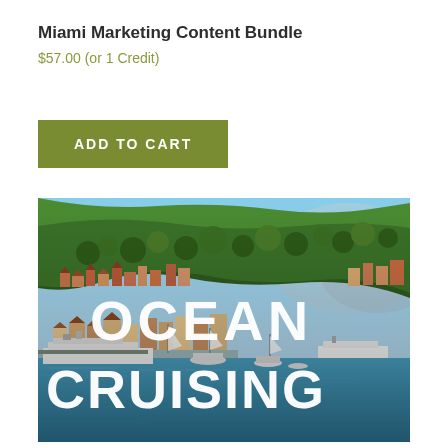Miami Marketing Content Bundle
$57.00 (or 1 Credit)
ADD TO CART
[Figure (photo): Aerial photo of a Mediterranean coastal harbor town (resembling Portofino, Italy) with colorful buildings, hillside covered in green trees, yachts and boats moored in the harbor, and large white text overlay reading 'OCEAN CRUISING']